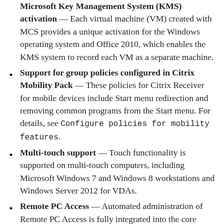Microsoft Key Management System (KMS) activation — Each virtual machine (VM) created with MCS provides a unique activation for the Windows operating system and Office 2010, which enables the KMS system to record each VM as a separate machine.
Support for group policies configured in Citrix Mobility Pack — These policies for Citrix Receiver for mobile devices include Start menu redirection and removing common programs from the Start menu. For details, see Configure policies for mobility features.
Multi-touch support — Touch functionality is supported on multi-touch computers, including Microsoft Windows 7 and Windows 8 workstations and Windows Server 2012 for VDAs.
Remote PC Access — Automated administration of Remote PC Access is fully integrated into the core functionality of the XenDesktop Delivery Controller and Studio. One Remote PC machine catalog and one